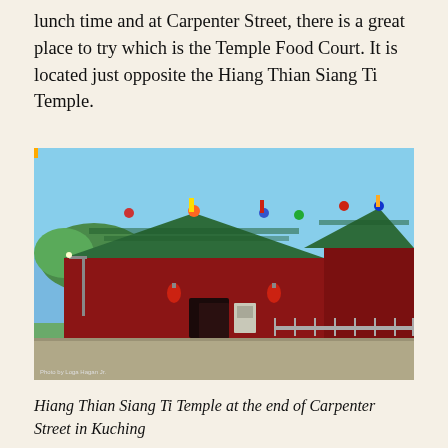lunch time and at Carpenter Street, there is a great place to try which is the Temple Food Court. It is located just opposite the Hiang Thian Siang Ti Temple.
[Figure (photo): Photograph of Hiang Thian Siang Ti Temple showing red walls with ornate green tiled roofs decorated with colorful figurines and dragons, blue sky background, street-level view with greenery and fence in foreground. Photo credit: Photo by Loga Hagan Jr.]
Hiang Thian Siang Ti Temple at the end of Carpenter Street in Kuching